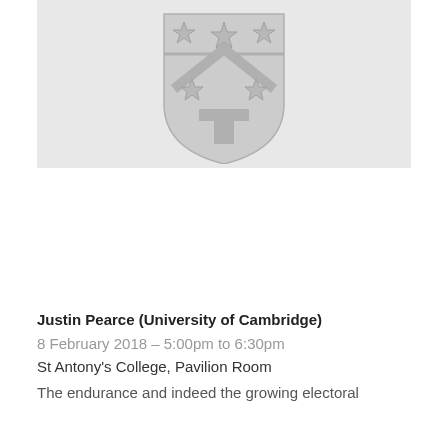[Figure (logo): University crest/shield logo in light gray on a light gray background. The shield features chevron, stars, and a T-cross design.]
Justin Pearce (University of Cambridge)
8 February 2018 – 5:00pm to 6:30pm
St Antony's College, Pavilion Room
The endurance and indeed the growing electoral